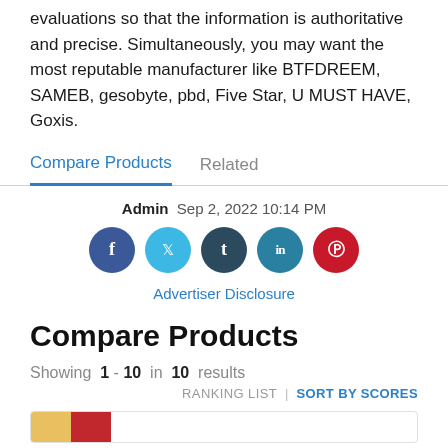evaluations so that the information is authoritative and precise. Simultaneously, you may want the most reputable manufacturer like BTFDREEM, SAMEB, gesobyte, pbd, Five Star, U MUST HAVE, Goxis.
Compare Products   Related
Admin  Sep 2, 2022 10:14 PM
[Figure (other): Social sharing icons: Facebook (blue), Twitter (light blue), Tumblr (dark blue), LinkedIn (teal), Pinterest (red)]
Advertiser Disclosure
Compare Products
Showing 1 - 10 in 10 results
RANKING LIST | SORT BY SCORES
[Figure (other): Bottom of a product card showing gold and red color stripes]